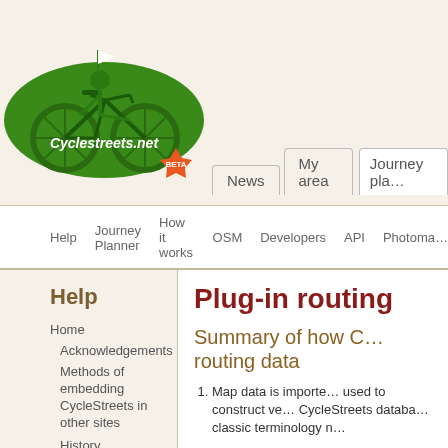[Figure (logo): CycleStreets.net logo with green bicycle and rider, BETA badge in orange]
News  My area  Journey pla...
Help  Journey Planner  How it works  OSM  Developers  API  Photoma...
Help
Home
Acknowledgements
Methods of embedding CycleStreets in other sites
History
Journey planner help
Frequently Asked Questions
How it works
How to use the Cycle
Plug-in routing
Summary of how C... routing data
Map data is imported... used to construct ve... CycleStreets databa... classic terminology n...
The cost of travelling... weighting. To acom... weightings for the le...